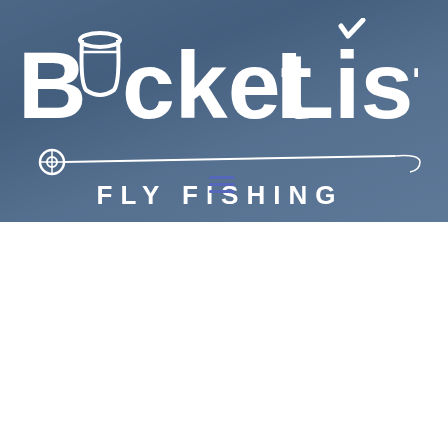[Figure (logo): Bucket List Fly Fishing logo on a blueish-grey background. White text logo reading 'Bucket List' in large bold font and 'FLY FISHING' in spaced capitals below, with a fishing rod and reel graphic.]
Add to cart
Quick view